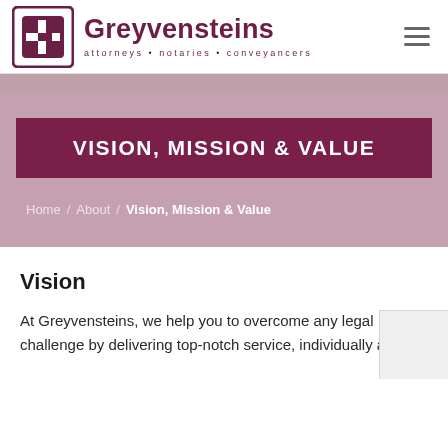Greyvensteins attorneys • notaries • conveyancers
[Figure (logo): Greyvensteins law firm logo with stylized G icon and tagline: attorneys • notaries • conveyancers]
VISION, MISSION & VALUE
Home / About / Vision, Mission & Value
Vision
At Greyvensteins, we help you to overcome any legal challenge by delivering top-notch service, individually and